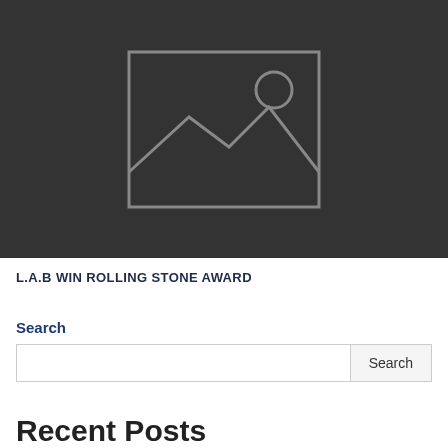[Figure (illustration): Dark grey placeholder image with a landscape/image placeholder icon (rectangle with mountain peaks and circle/sun outline) in grey on dark background]
L.A.B WIN ROLLING STONE AWARD
Search
Recent Posts